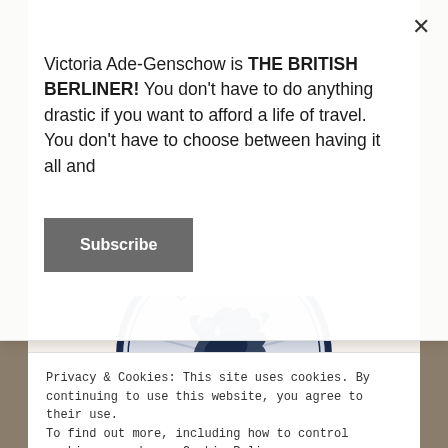Victoria Ade-Genschow is THE BRITISH BERLINER! You don't have to do anything drastic if you want to afford a life of travel. You don't have to choose between having it all and
Subscribe
[Figure (logo): InterNations Berlin Recommended by InterNations badge — circular dark navy badge with flying goose silhouette and text 'Berlin' at top, 'Recommended by InterNations' along the bottom arc]
Privacy & Cookies: This site uses cookies. By continuing to use this website, you agree to their use.
To find out more, including how to control cookies, see here: Cookie Policy
Close and accept